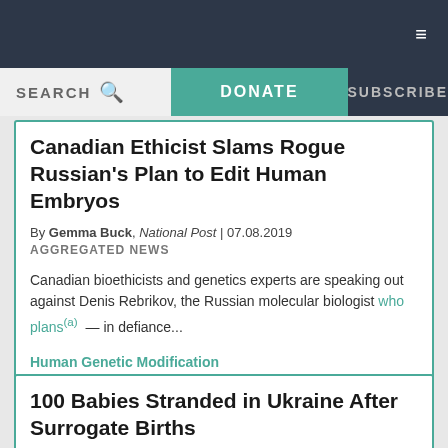Navigation bar with hamburger menu
SEARCH | DONATE | SUBSCRIBE
Canadian Ethicist Slams Rogue Russian's Plan to Edit Human Embryos
By Gemma Buck, National Post | 07.08.2019
AGGREGATED NEWS
Canadian bioethicists and genetics experts are speaking out against Denis Rebrikov, the Russian molecular biologist who plans — in defiance...
Human Genetic Modification
100 Babies Stranded in Ukraine After Surrogate Births